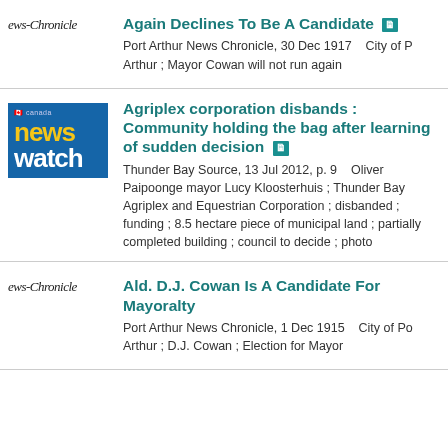Again Declines To Be A Candidate
Port Arthur News Chronicle, 30 Dec 1917   City of P Arthur ; Mayor Cowan will not run again
[Figure (logo): News Chronicle newspaper logo in italic serif font]
Agriplex corporation disbands : Community holding the bag after learning of sudden decision
Thunder Bay Source, 13 Jul 2012, p. 9   Oliver Paipoonge mayor Lucy Kloosterhuis ; Thunder Bay Agriplex and Equestrian Corporation ; disbanded ; funding ; 8.5 hectare piece of municipal land ; partially completed building ; council to decide ; photo
[Figure (logo): Thunder Bay Newswatch logo — blue background with yellow 'news' and white 'watch' text]
Ald. D.J. Cowan Is A Candidate For Mayoralty
Port Arthur News Chronicle, 1 Dec 1915   City of Po Arthur ; D.J. Cowan ; Election for Mayor
[Figure (logo): News Chronicle newspaper logo in italic serif font]